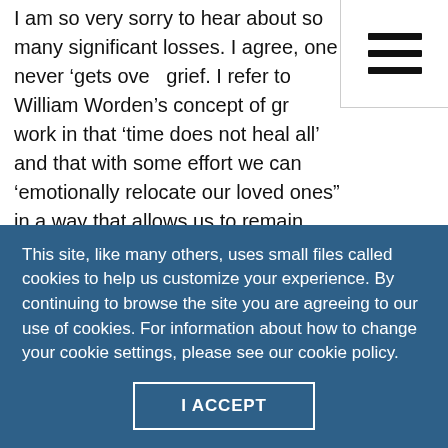I am so very sorry to hear about so many significant losses. I agree, one never 'gets over' grief. I refer to William Worden's concept of grief work in that 'time does not heal all' and that with some effort we can 'emotionally relocate our loved ones” in a way that allows us to remain connected to our loved ones as we continue in our life.

IN a nutshell, we love forever…and I don’t know about you, but I will always choose love even if it
This site, like many others, uses small files called cookies to help us customize your experience. By continuing to browse the site you are agreeing to our use of cookies. For information about how to change your cookie settings, please see our cookie policy.
I ACCEPT